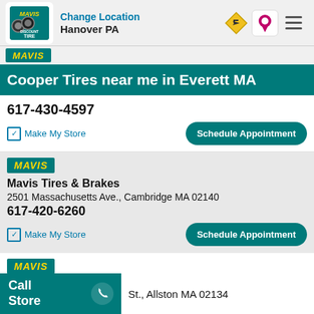Change Location
Hanover PA
Cooper Tires near me in Everett MA
617-430-4597
Make My Store
Schedule Appointment
[Figure (logo): Mavis Discount Tire logo]
Mavis Tires & Brakes
2501 Massachusetts Ave., Cambridge MA 02140
617-420-6260
Make My Store
Schedule Appointment
[Figure (logo): Mavis Discount Tire logo]
Mavis Tires & Brakes
St., Allston MA 02134
Call Store